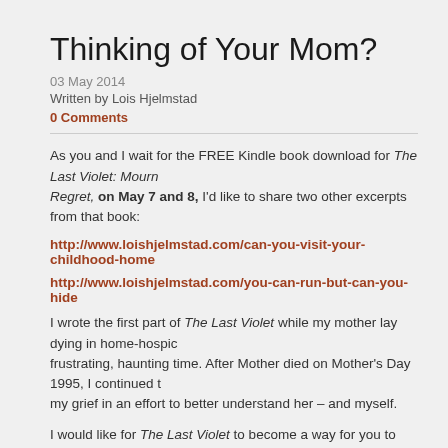Thinking of Your Mom?
03 May 2014
Written by Lois Hjelmstad
0 Comments
As you and I wait for the FREE Kindle book download for The Last Violet: Mourn... Regret, on May 7 and 8, I'd like to share two other excerpts from that book:
http://www.loishjelmstad.com/can-you-visit-your-childhood-home
http://www.loishjelmstad.com/you-can-run-but-can-you-hide
I wrote the first part of The Last Violet while my mother lay dying in home-hospic... frustrating, haunting time. After Mother died on Mother's Day 1995, I continued to... my grief in an effort to better understand her – and myself.
I would like for The Last Violet to become a way for you to explore your relations... dead.
All my love, Lois